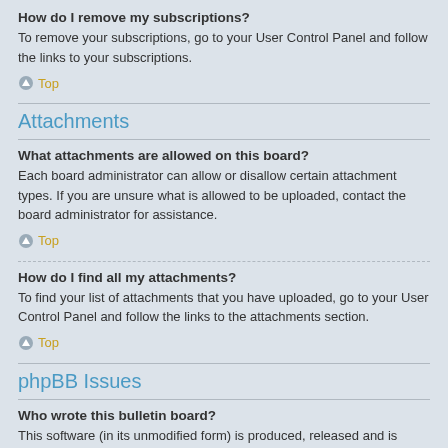How do I remove my subscriptions?
To remove your subscriptions, go to your User Control Panel and follow the links to your subscriptions.
Top
Attachments
What attachments are allowed on this board?
Each board administrator can allow or disallow certain attachment types. If you are unsure what is allowed to be uploaded, contact the board administrator for assistance.
Top
How do I find all my attachments?
To find your list of attachments that you have uploaded, go to your User Control Panel and follow the links to the attachments section.
Top
phpBB Issues
Who wrote this bulletin board?
This software (in its unmodified form) is produced, released and is copyright phpBB Limited. It is made available under the GNU General Public License